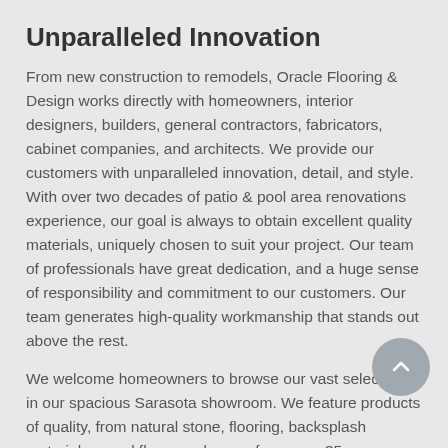Unparalleled Innovation
From new construction to remodels, Oracle Flooring & Design works directly with homeowners, interior designers, builders, general contractors, fabricators, cabinet companies, and architects. We provide our customers with unparalleled innovation, detail, and style. With over two decades of patio & pool area renovations experience, our goal is always to obtain excellent quality materials, uniquely chosen to suit your project. Our team of professionals have great dedication, and a huge sense of responsibility and commitment to our customers. Our team generates high-quality workmanship that stands out above the rest.
We welcome homeowners to browse our vast selections in our spacious Sarasota showroom. We feature products of quality, from natural stone, flooring, backsplash materials, wood floors and more, from over 35 manufacturers. We also welcome you to peruse our website and take a look at photos of the patio & pool area renovations we have completed and read the testimonials from several of our most satisfied customers.
Materials Expertise